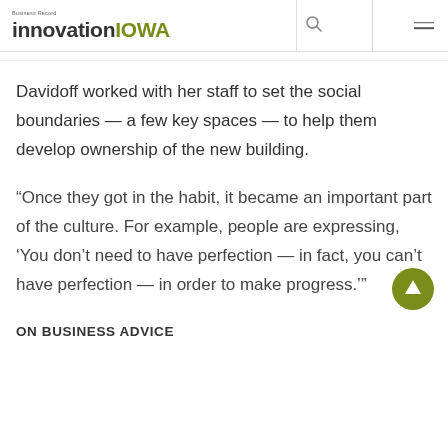Business Record innovationIOWA
Davidoff worked with her staff to set the social boundaries — a few key spaces — to help them develop ownership of the new building.
“Once they got in the habit, it became an important part of the culture. For example, people are expressing, ‘You don’t need to have perfection — in fact, you can’t have perfection — in order to make progress.’”
ON BUSINESS ADVICE